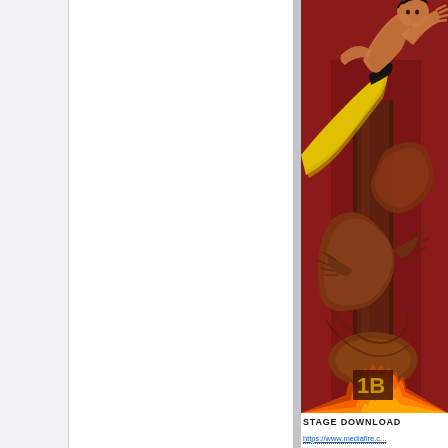[Figure (illustration): Anime/video game style martial arts character in yellow pants performing a flying kick against a red background with a large snake or dragon creature wrapping around a vertical pillar, with flames at the bottom. Art style resembles classic arcade fighting game artwork.]
STAGE DOWNLOAD
https://www.mediafire.c...